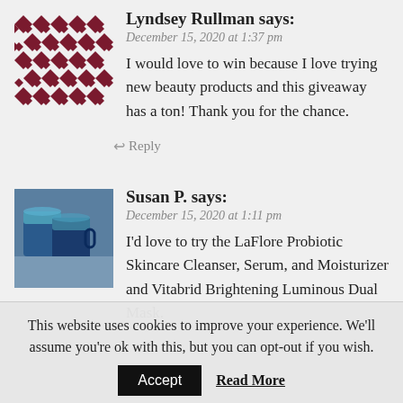[Figure (illustration): Geometric diamond pattern avatar in dark red/maroon on white background]
Lyndsey Rullman says:
December 15, 2020 at 1:37 pm
I would love to win because I love trying new beauty products and this giveaway has a ton! Thank you for the chance.
Reply
[Figure (photo): Photo of two blue pottery mugs]
Susan P. says:
December 15, 2020 at 1:11 pm
I'd love to try the LaFlore Probiotic Skincare Cleanser, Serum, and Moisturizer and Vitabrid Brightening Luminous Dual Mask.
This website uses cookies to improve your experience. We'll assume you're ok with this, but you can opt-out if you wish.
Accept
Read More